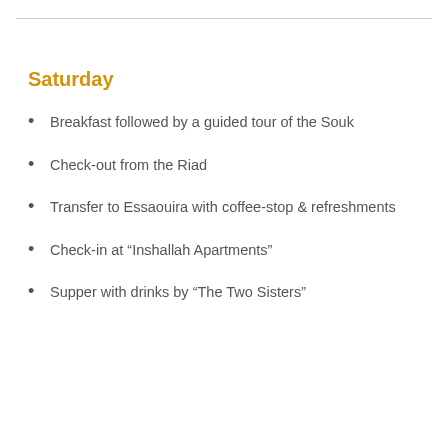Saturday
Breakfast followed by a guided tour of the Souk
Check-out from the Riad
Transfer to Essaouira with coffee-stop & refreshments
Check-in at “Inshallah Apartments”
Supper with drinks by “The Two Sisters”